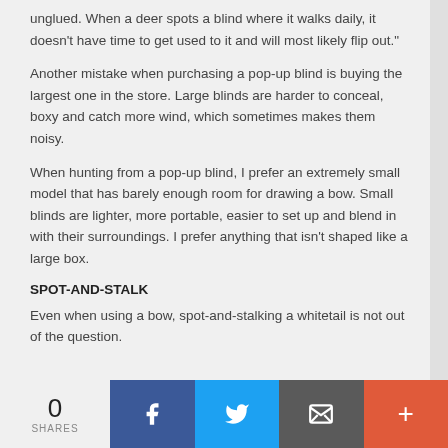unglued. When a deer spots a blind where it walks daily, it doesn't have time to get used to it and will most likely flip out."
Another mistake when purchasing a pop-up blind is buying the largest one in the store. Large blinds are harder to conceal, boxy and catch more wind, which sometimes makes them noisy.
When hunting from a pop-up blind, I prefer an extremely small model that has barely enough room for drawing a bow. Small blinds are lighter, more portable, easier to set up and blend in with their surroundings. I prefer anything that isn't shaped like a large box.
SPOT-AND-STALK
Even when using a bow, spot-and-stalking a whitetail is not out of the question.
0 SHARES | Facebook | Twitter | Email | More